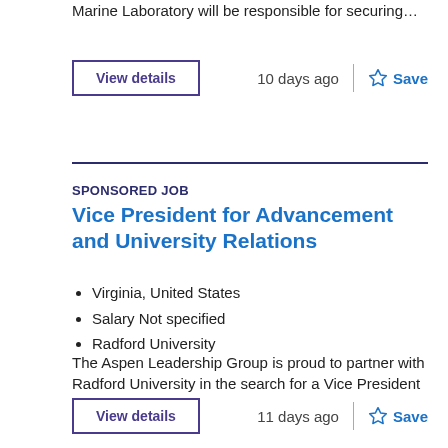Marine Laboratory will be responsible for securing…
10 days ago
Save
SPONSORED JOB
Vice President for Advancement and University Relations
Virginia, United States
Salary Not specified
Radford University
The Aspen Leadership Group is proud to partner with Radford University in the search for a Vice President f…
11 days ago
Save